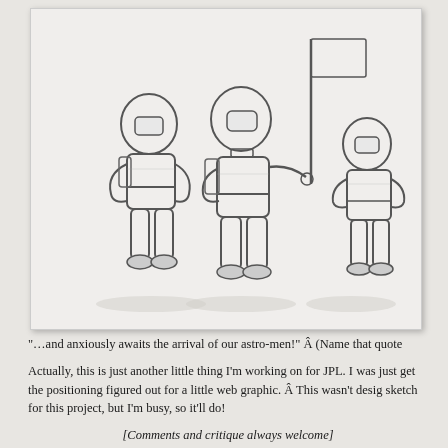[Figure (illustration): Pencil sketch of three astronauts in spacesuits standing together. The left astronaut has hands on hips, the middle one stands upright, and the right one holds a flag pole with a rectangular flag at the top.]
“…and anxiously awaits the arrival of our astro-men!” Â (Name that quote
Actually, this is just another little thing I’m working on for JPL. I was just get the positioning figured out for a little web graphic. Â This wasn’t desig sketch for this project, but I’m busy, so it’ll do!
[Comments and critique always welcome]